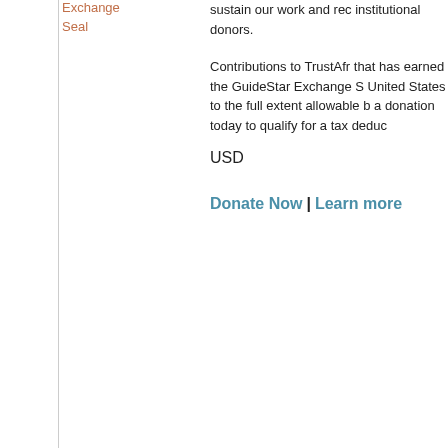Exchange
Seal
sustain our work and rec institutional donors.
Contributions to TrustAfr that has earned the GuideStar Exchange S United States to the full extent allowable b a donation today to qualify for a tax deduc
USD
Donate Now | Learn more